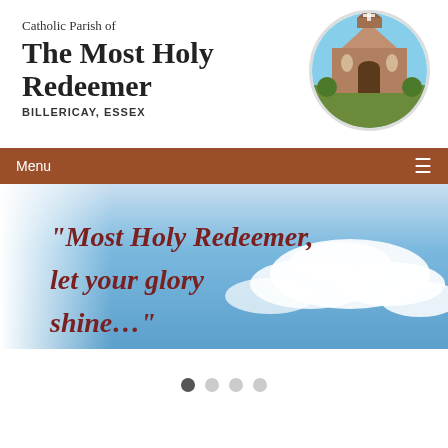Catholic Parish of
The Most Holy Redeemer
BILLERICAY, ESSEX
[Figure (photo): Circular photo of a brick church building with a bell tower and arched entrance, shown against a blue sky]
Menu
[Figure (illustration): Banner image with sky and clouds background, featuring text quote: "Most Holy Redeemer, let your glory (shine...)" in dark red serif font on a light gradient background]